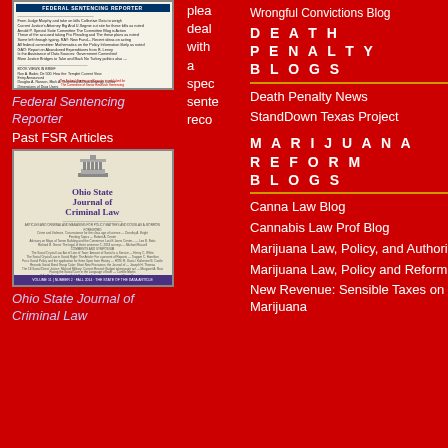[Figure (photo): Cover of Federal Sentencing Reporter journal]
Federal Sentencing Reporter
Past FSR Articles
[Figure (photo): Cover of Ohio State Journal of Criminal Law]
Ohio State Journal of Criminal Law
plea deal with a spec sente reco
DEATH PENALTY BLOGS
Wrongful Convictions Blog
Death Penalty News
StandDown Texas Project
MARIJUANA REFORM BLOGS
Canna Law Blog
Cannabis Law Prof Blog
Marijuana Law, Policy, and Authority
Marijuana Law, Policy and Reform
New Revenue: Sensible Taxes on Marijuana